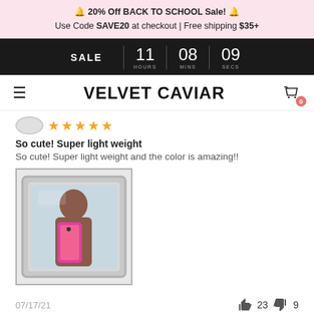🔔 20% Off BACK TO SCHOOL Sale! 🔔
Use Code SAVE20 at checkout | Free shipping $35+
SALE  11 HOURS  08 MINS  09 SECS
VELVET CAVIAR
★★★★★
So cute! Super light weight
So cute! Super light weight and the color is amazing!!
[Figure (photo): User review photo: person holding pink phone case reflected in a mirror, silver tray visible]
07/17/21   👍 23  👎 9